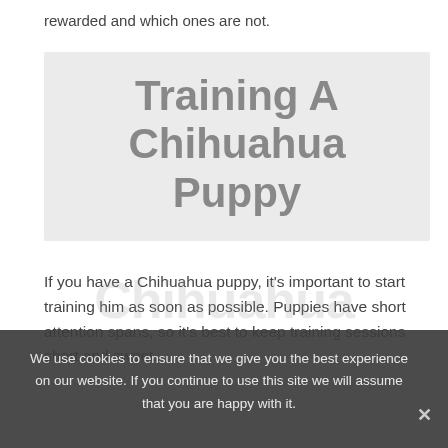rewarded and which ones are not.
[Figure (other): Gray banner box with large bold text reading 'Training A Chihuahua Puppy']
If you have a Chihuahua puppy, it's important to start training him as soon as possible. Puppies have short attention spans, so it's best to keep training sessions short and sweet.
We use cookies to ensure that we give you the best experience on our website. If you continue to use this site we will assume that you are happy with it.